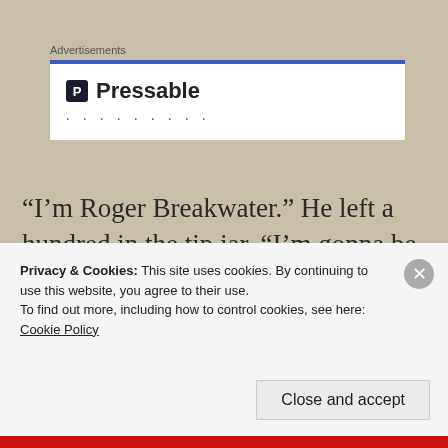Advertisements
[Figure (other): Pressable advertisement banner with blue top border, showing the Pressable logo icon and brand name, with ellipsis dots below.]
“I’m Roger Breakwater.” He left a hundred in the tip jar. “I’m gonna be naked the rest of this party, so I want to tip you ahead of time.
Without any delay, he shed the robe, revealing a soft, fat
Privacy & Cookies: This site uses cookies. By continuing to use this website, you agree to their use.
To find out more, including how to control cookies, see here: Cookie Policy
Close and accept